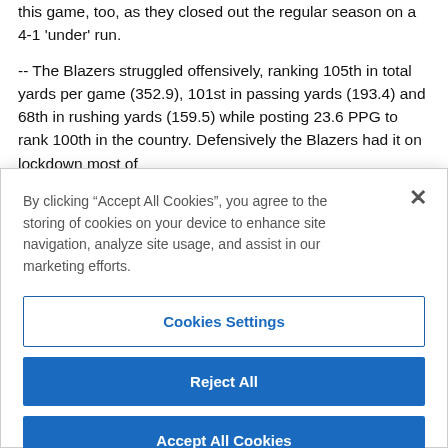this game, too, as they closed out the regular season on a 4-1 'under' run.

-- The Blazers struggled offensively, ranking 105th in total yards per game (352.9), 101st in passing yards (193.4) and 68th in rushing yards (159.5) while posting 23.6 PPG to rank 100th in the country. Defensively the Blazers had it on lockdown most of
By clicking “Accept All Cookies”, you agree to the storing of cookies on your device to enhance site navigation, analyze site usage, and assist in our marketing efforts.
Cookies Settings
Reject All
Accept All Cookies